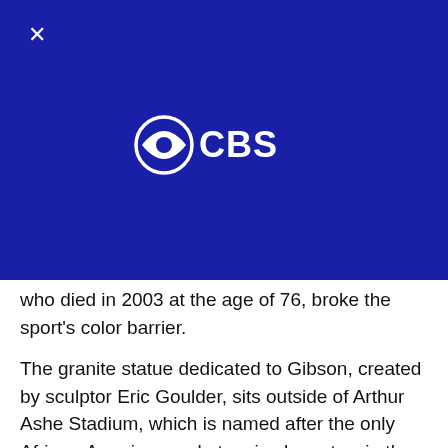[Figure (logo): CBS eye logo with 'CBS' text in white on dark blue background]
who died in 2003 at the age of 76, broke the sport's color barrier.
The granite statue dedicated to Gibson, created by sculptor Eric Goulder, sits outside of Arthur Ashe Stadium, which is named after the only African-American male tennis player to win the US Open